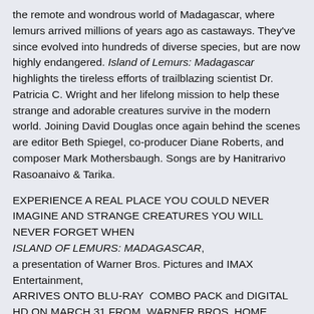the remote and wondrous world of Madagascar, where lemurs arrived millions of years ago as castaways. They've since evolved into hundreds of diverse species, but are now highly endangered. Island of Lemurs: Madagascar highlights the tireless efforts of trailblazing scientist Dr. Patricia C. Wright and her lifelong mission to help these strange and adorable creatures survive in the modern world. Joining David Douglas once again behind the scenes are editor Beth Spiegel, co-producer Diane Roberts, and composer Mark Mothersbaugh. Songs are by Hanitrarivo Rasoanaivo & Tarika.
EXPERIENCE A REAL PLACE YOU COULD NEVER IMAGINE AND STRANGE CREATURES YOU WILL NEVER FORGET WHEN ISLAND OF LEMURS: MADAGASCAR, a presentation of Warner Bros. Pictures and IMAX Entertainment, ARRIVES ONTO BLU-RAY COMBO PACK and DIGITAL HD ON MARCH 31 FROM WARNER BROS. HOME ENTERTAINMENT Blu-ray and Digital HD will include a bonus 3D version and adorable bonus features which include "The Cutest Lemur" and many more! Burbank, CA, February 12, 2015 – Academy Award